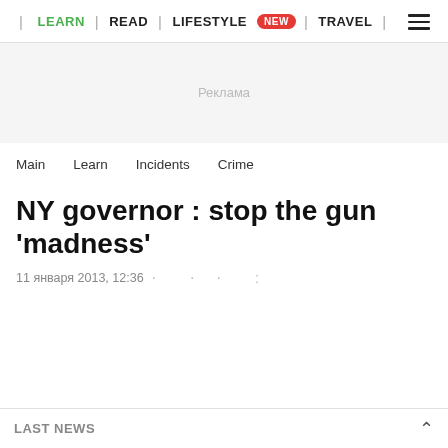| LEARN | READ | LIFESTYLE NEW | TRAVEL |
[Figure (other): Advertisement placeholder area with 'Реклама' label on light grey background]
Main   Learn   Incidents   Crime
NY governor : stop the gun 'madness'
11 января 2013, 12:36  ·  ·  ·  :
LAST NEWS